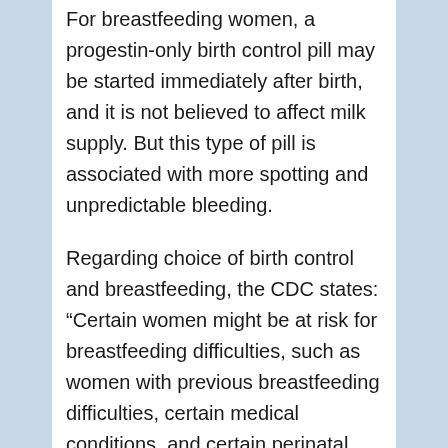For breastfeeding women, a progestin-only birth control pill may be started immediately after birth, and it is not believed to affect milk supply. But this type of pill is associated with more spotting and unpredictable bleeding.
Regarding choice of birth control and breastfeeding, the CDC states: “Certain women might be at risk for breastfeeding difficulties, such as women with previous breastfeeding difficulties, certain medical conditions, and certain perinatal complications and those who deliver preterm. For these women, as for all women, discussions about contraception for breastfeeding women should include information about risks, benefits, and alternatives.”
The type of pill that would be associated with a better bleeding pattern is a combined birth control